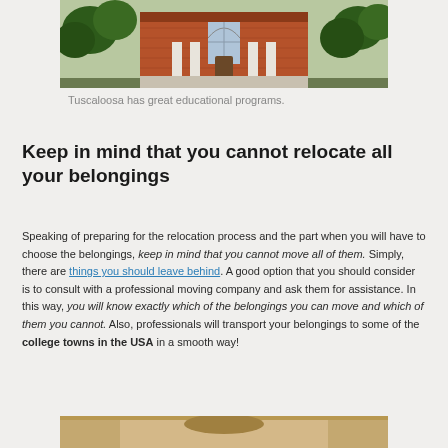[Figure (photo): Brick building with arched window and white columns, trees in foreground — Tuscaloosa educational institution]
Tuscaloosa has great educational programs.
Keep in mind that you cannot relocate all your belongings
Speaking of preparing for the relocation process and the part when you will have to choose the belongings, keep in mind that you cannot move all of them. Simply, there are things you should leave behind. A good option that you should consider is to consult with a professional moving company and ask them for assistance. In this way, you will know exactly which of the belongings you can move and which of them you cannot. Also, professionals will transport your belongings to some of the college towns in the USA in a smooth way!
[Figure (photo): Partial view of another image at the bottom of the page]